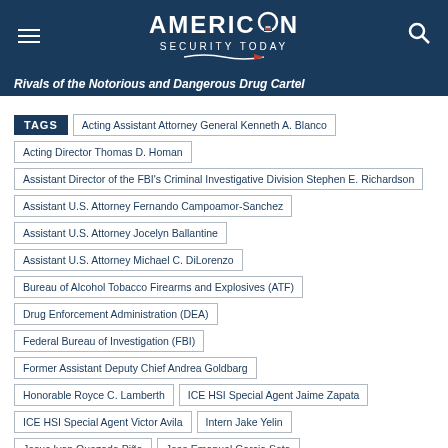American Security Today
Rivals of the Notorious and Dangerous Drug Cartel
TAGS
Acting Assistant Attorney General Kenneth A. Blanco
Acting Director Thomas D. Homan
Assistant Director of the FBI's Criminal Investigative Division Stephen E. Richardson
Assistant U.S. Attorney Fernando Campoamor-Sanchez
Assistant U.S. Attorney Jocelyn Ballantine
Assistant U.S. Attorney Michael C. DiLorenzo
Bureau of Alcohol Tobacco Firearms and Explosives (ATF)
Drug Enforcement Administration (DEA)
Federal Bureau of Investigation (FBI)
Former Assistant Deputy Chief Andrea Goldbarg
Honorable Royce C. Lamberth
ICE HSI Special Agent Jaime Zapata
ICE HSI Special Agent Victor Avila
Intern Jake Yelin
Jesus Ivan Quezada Piña
Jose Emanuel Garcia Sota
Juan Manuel Maldonado Amezcua